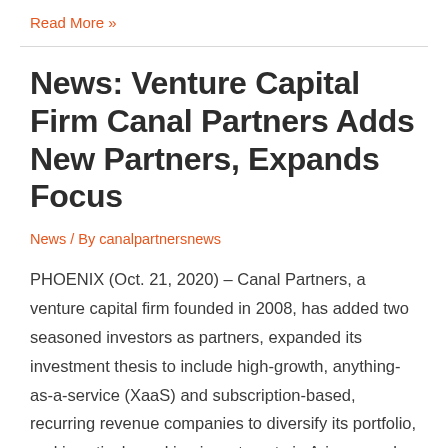Read More »
News: Venture Capital Firm Canal Partners Adds New Partners, Expands Focus
News / By canalpartnersnews
PHOENIX (Oct. 21, 2020) – Canal Partners, a venture capital firm founded in 2008, has added two seasoned investors as partners, expanded its investment thesis to include high-growth, anything-as-a-service (XaaS) and subscription-based, recurring revenue companies to diversify its portfolio, and is actively seeking investments in Arizona and southern California.  The two new partners, Chad Horstman …